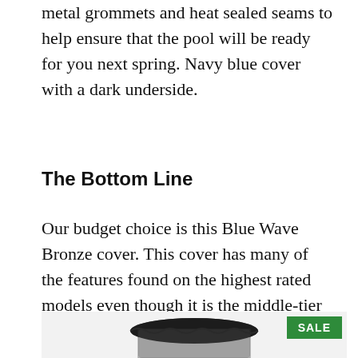metal grommets and heat sealed seams to help ensure that the pool will be ready for you next spring. Navy blue cover with a dark underside.
The Bottom Line
Our budget choice is this Blue Wave Bronze cover. This cover has many of the features found on the highest rated models even though it is the middle-tier offering from Blue Wave.
[Figure (photo): Product photo of a round pool cover on a pool, partially visible, with a green SALE badge in the top-right corner of the image area.]